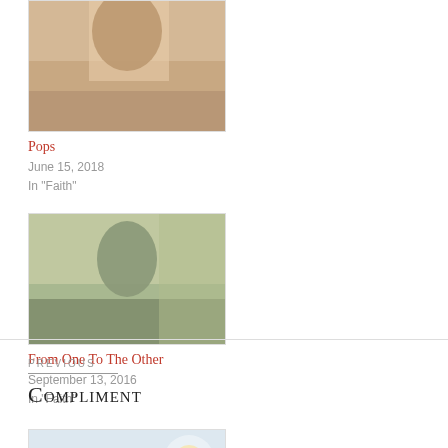[Figure (photo): Thumbnail photo partially visible at top, related post card for 'Pops']
Pops
June 15, 2018
In "Faith"
[Figure (photo): Thumbnail photo partially visible at top, related post card for 'From One To The Other']
From One To The Other
September 13, 2016
In "Faith"
[Figure (photo): Photo of a dog looking upward with chin raised, taken from below against a light sky]
Facepalm.
June 12, 2017
In "Dogs"
PREVIOUS
Compliment